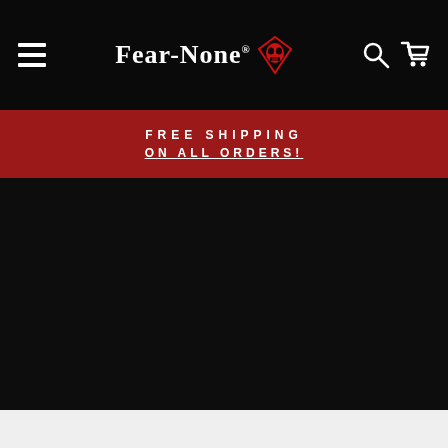Fear-None® [logo icon]
FREE SHIPPING
ON ALL ORDERS!
[Figure (other): Dark hero banner image section, mostly black background]